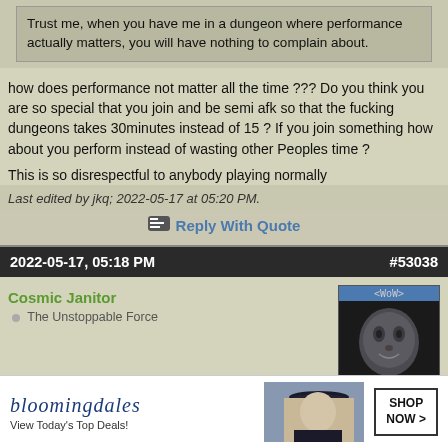Trust me, when you have me in a dungeon where performance actually matters, you will have nothing to complain about.
how does performance not matter all the time ??? Do you think you are so special that you join and be semi afk so that the fucking dungeons takes 30minutes instead of 15 ? If you join something how about you perform instead of wasting other Peoples time ?

This is so disrespectful to anybody playing normally
Last edited by jkq; 2022-05-17 at 05:20 PM.
Reply With Quote
2022-05-17, 05:18 PM   #53038
Cosmic Janitor   The Unstoppable Force
Hmm the housing stuff seems to be fixed now and the plots stuck with participant zero seem to have actual winners now. Sadly that also means that all plots in the private wards are now taken as well, while still 80% of the FC plots waste away..
2 more replies
[Figure (illustration): Bloomingdales advertisement banner with brand name, 'View Today's Top Deals!', woman in hat image, and 'SHOP NOW >' button]